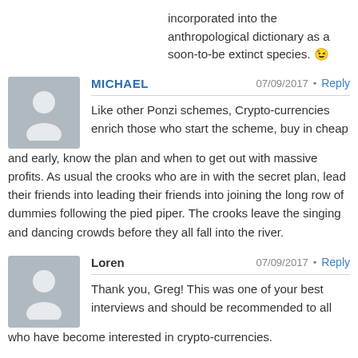incorporated into the anthropological dictionary as a soon-to-be extinct species. 😉
MICHAEL
07/09/2017 · Reply
Like other Ponzi schemes, Crypto-currencies enrich those who start the scheme, buy in cheap and early, know the plan and when to get out with massive profits. As usual the crooks who are in with the secret plan, lead their friends into leading their friends into joining the long row of dummies following the pied piper. The crooks leave the singing and dancing crowds before they all fall into the river.
Loren
07/09/2017 · Reply
Thank you, Greg! This was one of your best interviews and should be recommended to all who have become interested in crypto-currencies.